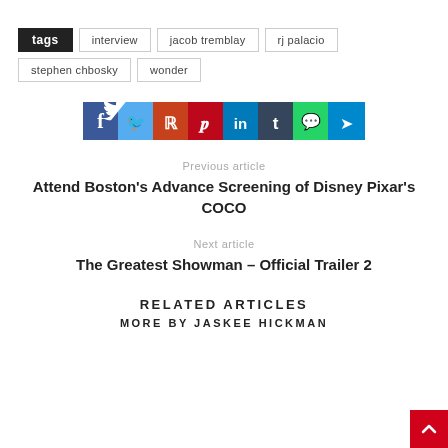Tags  interview  jacob tremblay  rj palacio  stephen chbosky  wonder
[Figure (infographic): Social media sharing buttons row: Facebook (blue), Twitter (light blue), Reddit (orange-red), Pinterest (red), LinkedIn (blue), Tumblr (dark blue), WhatsApp (green), Telegram (blue)]
Previous article
Attend Boston's Advance Screening of Disney Pixar's COCO
Next article
The Greatest Showman – Official Trailer 2
RELATED ARTICLES
MORE BY JASKEE HICKMAN